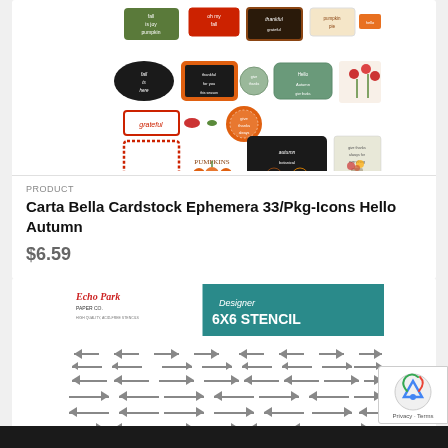[Figure (photo): Carta Bella Cardstock Ephemera product image showing various autumn-themed die-cut labels and tags with fall motifs including pumpkins, flowers, chalkboard frames, and seasonal text]
PRODUCT
Carta Bella Cardstock Ephemera 33/Pkg-Icons Hello Autumn
$6.59
[Figure (photo): Echo Park Paper Co. Designer 6x6 Stencil product image showing a pattern of arrows pointing in alternating directions on white background with teal header bar]